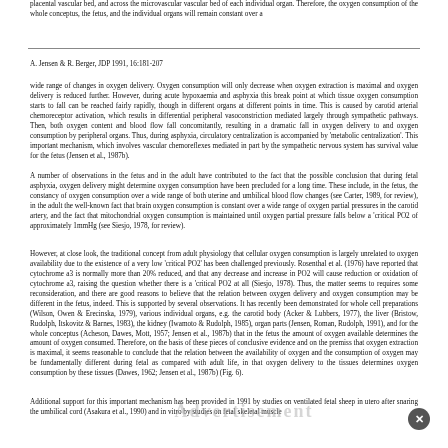placental vascular bed, and across the microvascular vascular bed of each individual organ. Therefore, the oxygen consumption of the whole conceptus, the fetus, and the individual organs will remain constant over a
A. Jensen & R. Berger, JDP 1991, 16:181-207
wide range of changes in oxygen delivery. Oxygen consumption will only decrease when oxygen extraction is maximal and oxygen delivery is reduced further. However, during acute hypoxaemia and asphyxia this break point at which tissue oxygen consumption starts to fall can be reached fairly rapidly, though in different organs at different points in time. This is caused by carotid arterial chemoreceptor activation, which results in differential peripheral vasoconstriction mediated largely through sympathetic pathways. Then, both oxygen content and blood flow fall concomitantly, resulting in a dramatic fall in oxygen delivery to and oxygen consumption by peripheral organs. Thus, during asphyxia, circulatory centralization is accompanied by 'metabolic centralization'. This important mechanism, which involves vascular chemoreflexes mediated in part by the sympathetic nervous system has survival value for the fetus (Jensen et al., 1987b).
A number of observations in the fetus and in the adult have contributed to the fact that the possible conclusion that during fetal asphyxia, oxygen delivery might determine oxygen consumption have been precluded for a long time. These include, in the fetus, the constancy of oxygen consumption over a wide range of both uterine and umbilical blood flow changes (see Carter, 1989, for review), in the adult the well-known fact that brain oxygen consumption is constant over a wide range of oxygen partial pressures in the carotid artery, and the fact that mitochondrial oxygen consumption is maintained until oxygen partial pressure falls below a 'critical PO2 of approximately 1mmHg (see Siesjo, 1978, for review).
However, at close look, the traditional concept from adult physiology that cellular oxygen consumption is largely unrelated to oxygen availability due to the existence of a very low 'critical PO2' has been challenged previously. Rosenthal et al. (1976) have reported that cytochrome a3 is normally more than 20% reduced, and that any decrease and increase in PO2 will cause reduction or oxidation of cytochrome a3, raising the question whether there is a 'critical PO2 at all (Siesjo, 1978). Thus, the matter seems to requires some reconsideration, and there are good reasons to believe that the relation between oxygen delivery and oxygen consumption may be different in the fetus, indeed. This is supported by several observations. It has recently been demonstrated for whole cell preparations (Wilson, Owen & Erecinska, 1979), various individual organs, e.g. the carotid body (Acker & Lubbers, 1977), the liver (Bristow, Rudolph, Itskovitz & Barnes, 1983), the kidney (Iwamoto & Rudolph, 1985), organ parts (Jensen, Roman, Rudolph, 1991), and for the whole conceptus (Acheson, Dawes, Mott, 1957; Jensen et al., 1987b) that in the fetus the amount of oxygen available determines the amount of oxygen consumed. Therefore, on the basis of these pieces of conclusive evidence and on the premiss that oxygen extraction is maximal, it seems reasonable to conclude that the relation between the availability of oxygen and the consumption of oxygen may be fundamentally different during fetal as compared with adult life, in that oxygen delivery to the tissues determines oxygen consumption by these tissues (Dawes, 1962; Jensen et al., 1987b) (Fig. 6).
Additional support for this important mechanism has been provided in 1991 by studies on ventilated fetal sheep in utero after snaring the umbilical cord (Asakura et al., 1990) and in vitro by studies on fetal skeletal muscle